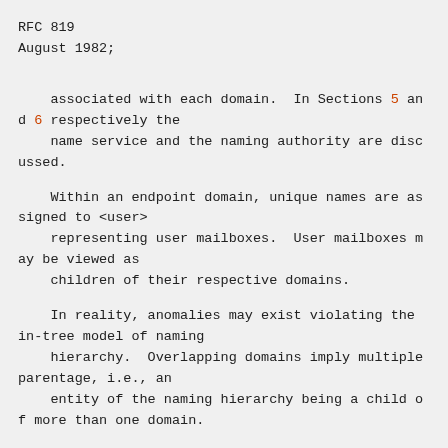RFC 819
August 1982;
associated with each domain.  In Sections 5 and 6 respectively the name service and the naming authority are discussed.
Within an endpoint domain, unique names are assigned to <user> representing user mailboxes.  User mailboxes may be viewed as children of their respective domains.
In reality, anomalies may exist violating the in-tree model of naming hierarchy.  Overlapping domains imply multiple parentage, i.e., an entity of the naming hierarchy being a child of more than one domain.